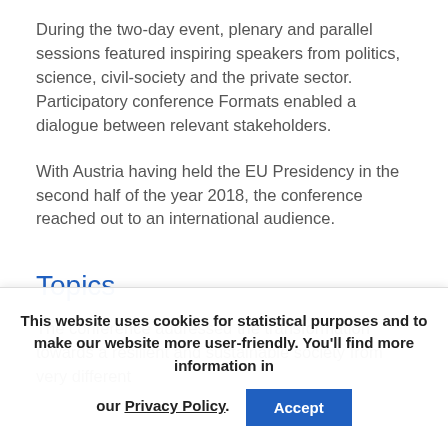During the two-day event, plenary and parallel sessions featured inspiring speakers from politics, science, civil-society and the private sector. Participatory conference Formats enabled a dialogue between relevant stakeholders.
With Austria having held the EU Presidency in the second half of the year 2018, the conference reached out to an international audience.
Topics
The conference addressed the transformation towards a resilient and sustainable society from very different
This website uses cookies for statistical purposes and to make our website more user-friendly. You'll find more information in our Privacy Policy.